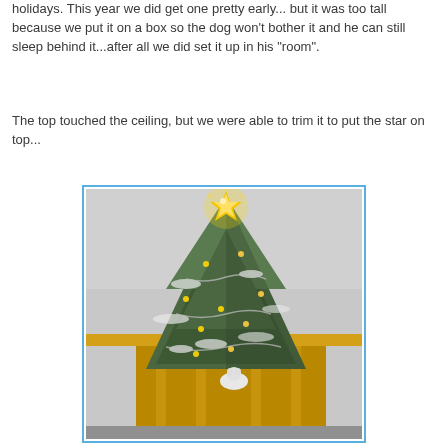holidays. This year we did get one pretty early... but it was too tall because we put it on a box so the dog won't bother it and he can still sleep behind it...after all we did set it up in his "room".
The top touched the ceiling, but we were able to trim it to put the star on top...
[Figure (photo): A Christmas tree with a glowing golden star on top, near the ceiling of a room with yellow walls and curtains. The tree has lights and tinsel. A small white animal (likely a cat) is visible at the base.]